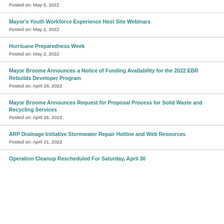Posted on: May 5, 2022
Mayor's Youth Workforce Experience Host Site Webinars
Posted on: May 2, 2022
Hurricane Preparedness Week
Posted on: May 2, 2022
Mayor Broome Announces a Notice of Funding Availability for the 2022 EBR Rebuilds Developer Program
Posted on: April 28, 2022
Mayor Broome Announces Request for Proposal Process for Solid Waste and Recycling Services
Posted on: April 26, 2022
ARP Drainage Initiative Stormwater Repair Hotline and Web Resources
Posted on: April 21, 2022
Operation Cleanup Rescheduled For Saturday, April 30